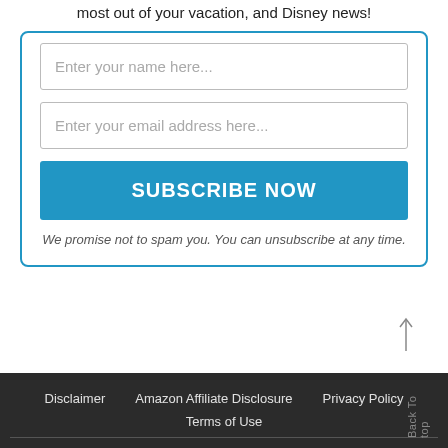most out of your vacation, and Disney news!
[Figure (other): Email subscription form with name field, email field, and SUBSCRIBE NOW button]
We promise not to spam you. You can unsubscribe at any time.
Disclaimer  Amazon Affiliate Disclosure  Privacy Policy  Terms of Use